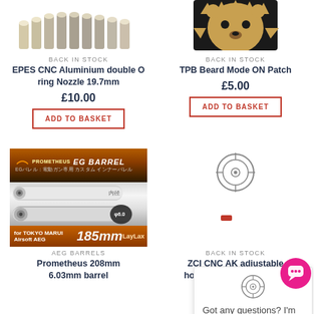[Figure (photo): Product image top-left: EPES CNC Aluminium double O ring Nozzle, metallic nozzles visible at top]
[Figure (photo): Product image top-right: TPB Beard Mode ON Patch, brown bear face patch on black background]
BACK IN STOCK
EPES CNC Aluminium double O ring Nozzle 19.7mm
£10.00
ADD TO BASKET
BACK IN STOCK
TPB Beard Mode ON Patch
£5.00
ADD TO BASKET
[Figure (photo): Prometheus EG Barrel product image showing metal barrels, for Tokyo Marui Airsoft AEG 185mm]
[Figure (photo): ZCI CNC AK adjustable hop unit with hop rubber product image area with red accent]
Got any questions? I'm happy to help.
AEG BARRELS
Prometheus 208mm 6.03mm barrel
BACK IN STOCK
ZCI CNC AK adjustable hop unit with hop rubber